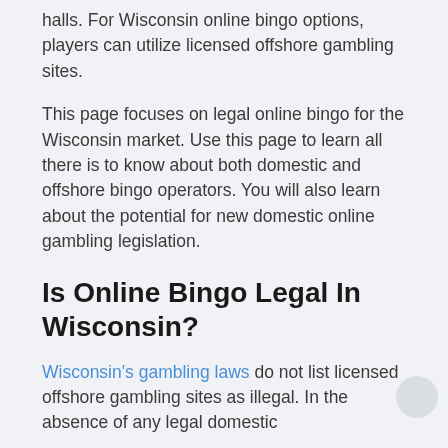halls. For Wisconsin online bingo options, players can utilize licensed offshore gambling sites.
This page focuses on legal online bingo for the Wisconsin market. Use this page to learn all there is to know about both domestic and offshore bingo operators. You will also learn about the potential for new domestic online gambling legislation.
Is Online Bingo Legal In Wisconsin?
Wisconsin's gambling laws do not list licensed offshore gambling sites as illegal. In the absence of any legal domestic